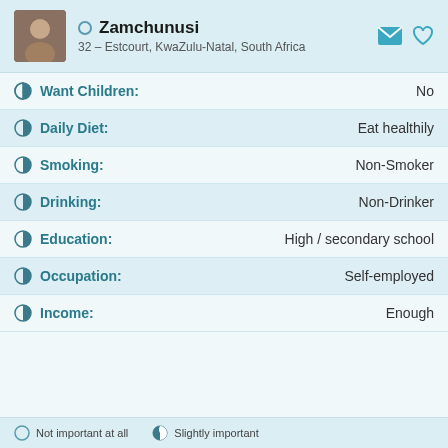Zamchunusi — 32 – Estcourt, KwaZulu-Natal, South Africa
Want Children: No
Daily Diet: Eat healthily
Smoking: Non-Smoker
Drinking: Non-Drinker
Education: High / secondary school
Occupation: Self-employed
Income: Enough
Not important at all   Slightly important